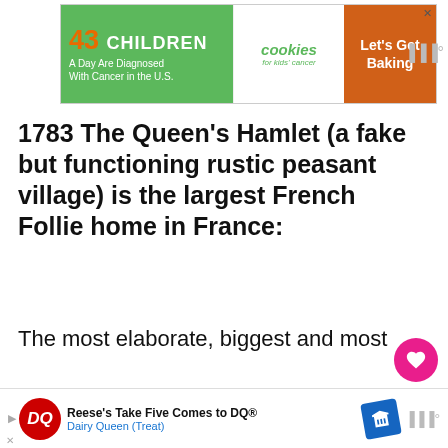[Figure (screenshot): Top advertisement banner: '43 CHILDREN A Day Are Diagnosed With Cancer in the U.S.' with cookies for kids' cancer logo and 'Let's Get Baking' on orange background]
1783 The Queen’s Hamlet (a fake but functioning rustic peasant village) is the largest French Follie home in France:
The most elaborate, biggest and most expensive example of a pleasure garden Maison Folie in France is, withou the grounds at petit Trianon in Versaille
[Figure (screenshot): Bottom advertisement: Reese's Take Five Comes to DQ®, Dairy Queen (Treat) with DQ logo and navigation sign]